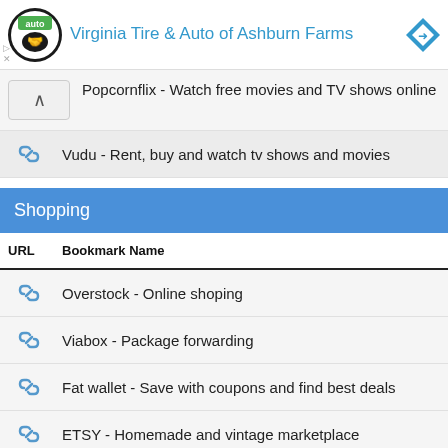[Figure (other): Advertisement banner for Virginia Tire & Auto of Ashburn Farms with logo and diamond icon]
Popcornflix - Watch free movies and TV shows online
Vudu - Rent, buy and watch tv shows and movies
Shopping
| URL | Bookmark Name |
| --- | --- |
| 🔗 | Overstock - Online shoping |
| 🔗 | Viabox - Package forwarding |
| 🔗 | Fat wallet - Save with coupons and find best deals |
| 🔗 | ETSY - Homemade and vintage marketplace |
| 🔗 | Think geek - Geek stuff |
| 🔗 | This is why I'm broke - Internet Mall |